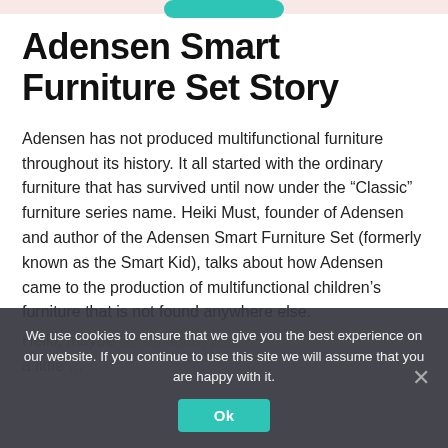Adensen Smart Furniture Set Story
Adensen has not produced multifunctional furniture throughout its history. It all started with the ordinary furniture that has survived until now under the “Classic” furniture series name. Heiki Must, founder of Adensen and author of the Adensen Smart Furniture Set (formerly known as the Smart Kid), talks about how Adensen came to the production of multifunctional children’s furniture that is not found anywhere else.
Heiki, maybe tell us a little about your a little …
We use cookies to ensure that we give you the best experience on our website. If you continue to use this site we will assume that you are happy with it.